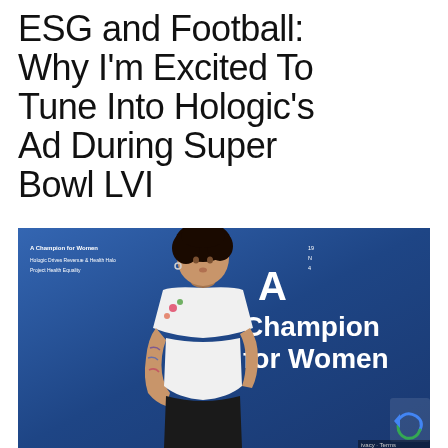ESG and Football: Why I'm Excited To Tune Into Hologic's Ad During Super Bowl LVI
[Figure (photo): Hologic advertisement showing a young woman with tattoos and curly hair sitting with arms crossed, wearing a white floral t-shirt, against a blue background with text 'A Champion for Women'. Small text on the left side reads 'A Champion for Women' with bullet points about Hologic, Drive Revenue, Health Halo, Project Health Equality.]